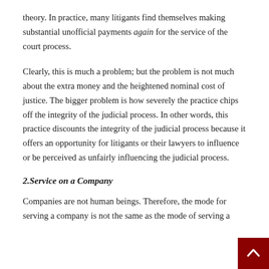theory. In practice, many litigants find themselves making substantial unofficial payments again for the service of the court process.
Clearly, this is much a problem; but the problem is not much about the extra money and the heightened nominal cost of justice. The bigger problem is how severely the practice chips off the integrity of the judicial process. In other words, this practice discounts the integrity of the judicial process because it offers an opportunity for litigants or their lawyers to influence or be perceived as unfairly influencing the judicial process.
2.Service on a Company
Companies are not human beings. Therefore, the mode for serving a company is not the same as the mode of serving a